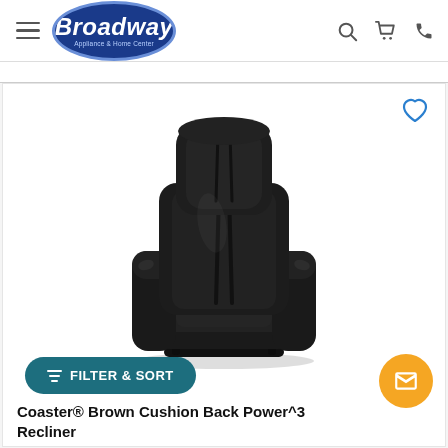[Figure (logo): Broadway Appliance & Home Center logo in blue oval]
[Figure (photo): Black leather power recliner chair product photo on white background]
FILTER & SORT
Coaster® Brown Cushion Back Power^3 Recliner